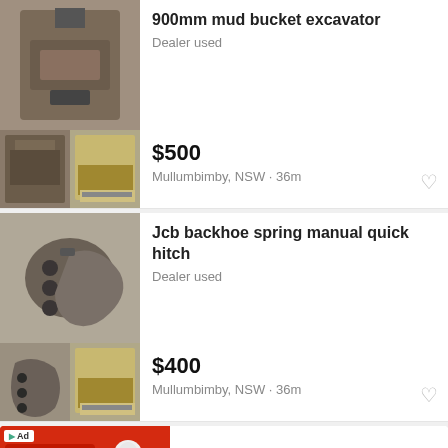[Figure (photo): Mud bucket excavator attachment, rusty metal, multiple angles]
900mm mud bucket excavator
Dealer used
[Figure (photo): Two small thumbnail photos of mud bucket excavator]
$500
Mullumbimby, NSW · 36m
[Figure (photo): JCB backhoe spring manual quick hitch attachment]
Jcb backhoe spring manual quick hitch
Dealer used
[Figure (photo): Two small thumbnail photos of JCB quick hitch]
$400
Mullumbimby, NSW · 36m
[Figure (screenshot): BitLife - Life Simulator advertisement banner with red background and app icon]
BitLife - Life Simulator
Install!